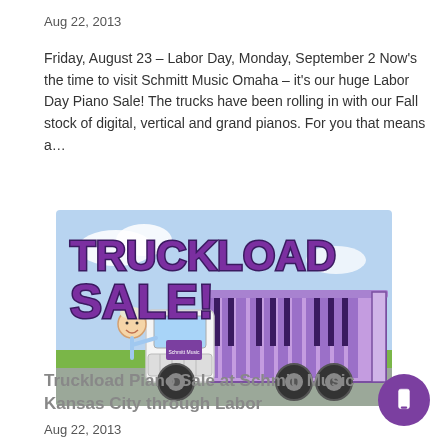Aug 22, 2013
Friday, August 23 – Labor Day, Monday, September 2 Now's the time to visit Schmitt Music Omaha – it's our huge Labor Day Piano Sale! The trucks have been rolling in with our Fall stock of digital, vertical and grand pianos. For you that means a…
[Figure (illustration): Cartoon truck with purple piano keyboard-patterned trailer and 'TRUCKLOAD SALE!' text, Schmitt Music branding, green field background]
Truckload Piano Sale at Schmitt Music Kansas City through Labor
Aug 22, 2013